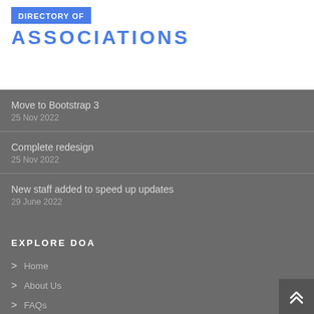DIRECTORY OF
ASSOCIATIONS
Move to Bootstrap 3
25 Nov 2022
Complete redesign
25 Nov 2022
New staff added to speed up updates
29 June 2022
EXPLORE DOA
> Home
> About Us
> FAQs